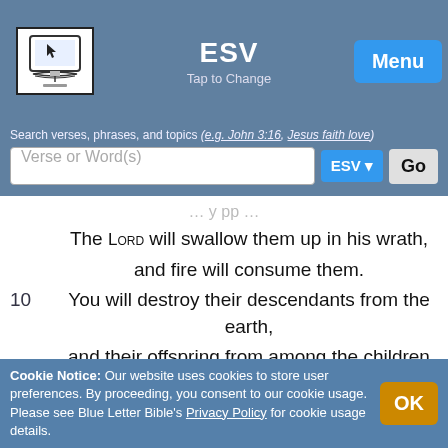[Figure (screenshot): Bible app header with logo, ESV translation label, Menu button, search bar, and navigation links (Prev, Help, Quick Nav, Options, Next)]
The LORD will swallow them up in his wrath, and fire will consume them.
10   You will destroy their descendants from the earth, and their offspring from among the children of man.
11   Though they plan evil against you, though they devise mischief, they will not
Cookie Notice: Our website uses cookies to store user preferences. By proceeding, you consent to our cookie usage. Please see Blue Letter Bible's Privacy Policy for cookie usage details.